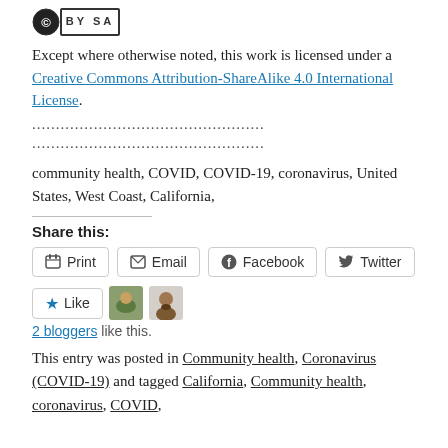[Figure (logo): Creative Commons BY SA license logo badge with black circle and text BY SA in a bordered box]
Except where otherwise noted, this work is licensed under a Creative Commons Attribution-ShareAlike 4.0 International License.
..............................................
..............................................
community health, COVID, COVID-19, coronavirus, United States, West Coast, California,
Share this:
Print  Email  Facebook  Twitter
[Figure (other): Like button with star icon and two blogger avatars]
2 bloggers like this.
This entry was posted in Community health, Coronavirus (COVID-19) and tagged California, Community health, coronavirus, COVID,